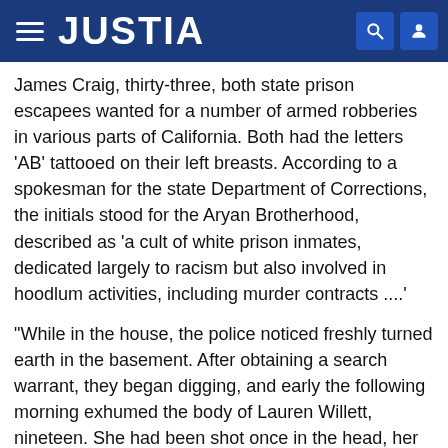JUSTIA
James Craig, thirty-three, both state prison escapees wanted for a number of armed robberies in various parts of California. Both had the letters 'AB' tattooed on their left breasts. According to a spokesman for the state Department of Corrections, the initials stood for the Aryan Brotherhood, described as 'a cult of white prison inmates, dedicated largely to racism but also involved in hoodlum activities, including murder contracts ....'
"While in the house, the police noticed freshly turned earth in the basement. After obtaining a search warrant, they began digging, and early the following morning exhumed the body of Lauren Willett, nineteen. She had been shot once in the head, her death occurring either late Friday night or early Saturday morning, not long after the identity of her slain husband was revealed on